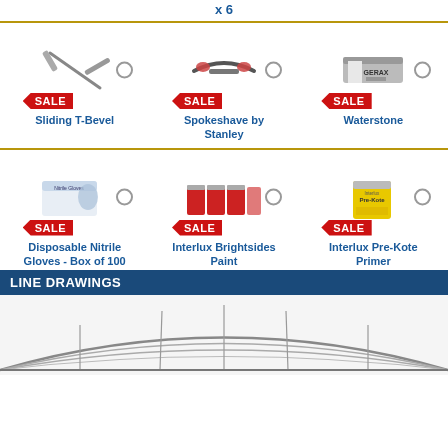x 6
[Figure (illustration): Three product images in a row: Sliding T-Bevel, Spokeshave by Stanley, Waterstone — each with a red SALE badge]
Sliding T-Bevel
Spokeshave by Stanley
Waterstone
[Figure (illustration): Three product images in a row: Disposable Nitrile Gloves Box of 100, Interlux Brightsides Paint, Interlux Pre-Kote Primer — each with a red SALE badge]
Disposable Nitrile Gloves - Box of 100
Interlux Brightsides Paint
Interlux Pre-Kote Primer
LINE DRAWINGS
[Figure (illustration): Partial line drawing of a boat hull structure shown at the bottom of the page]